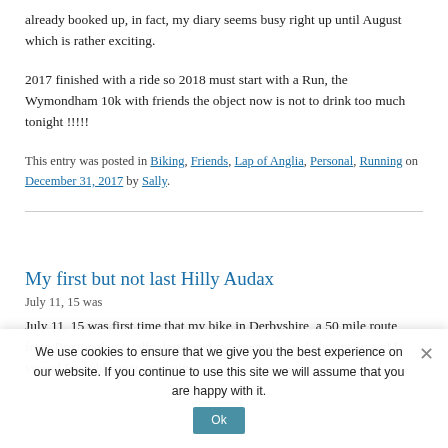already booked up, in fact, my diary seems busy right up until August which is rather exciting.
2017 finished with a ride so 2018 must start with a Run, the Wymondham 10k with friends the object now is not to drink too much tonight !!!!!
This entry was posted in Biking, Friends, Lap of Anglia, Personal, Running on December 31, 2017 by Sally.
My first but not last Hilly Audax
July 11, 15 was first time that my bike in Derbyshire, a 50 mile route from Buxton that totally destroyed me, mentally and physically and I vowed I would never go again.
We use cookies to ensure that we give you the best experience on our website. If you continue to use this site we will assume that you are happy with it.